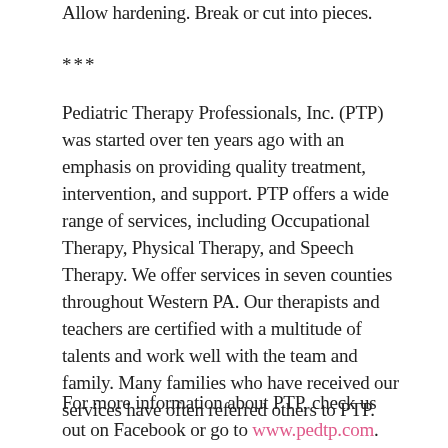Allow hardening.  Break or cut into pieces.
***
Pediatric Therapy Professionals, Inc. (PTP) was started over ten years ago with an emphasis on providing quality treatment, intervention, and support.  PTP offers a wide range of services, including Occupational Therapy, Physical Therapy, and Speech Therapy.  We offer services in seven counties throughout Western PA.  Our therapists and teachers are certified with a multitude of talents and work well with the team and family.  Many families who have received our services have often referred others to PTP.
For more information about PTP, check us out on Facebook or go to www.pedtp.com.  On the